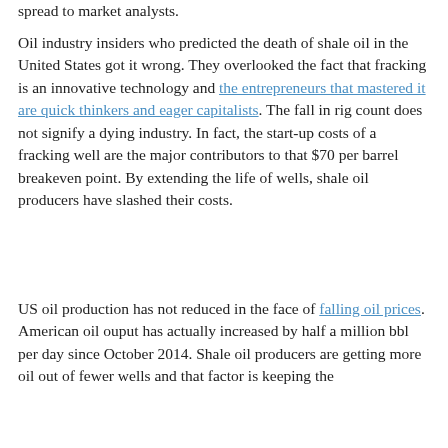spread to market analysts.
Oil industry insiders who predicted the death of shale oil in the United States got it wrong. They overlooked the fact that fracking is an innovative technology and the entrepreneurs that mastered it are quick thinkers and eager capitalists. The fall in rig count does not signify a dying industry. In fact, the start-up costs of a fracking well are the major contributors to that $70 per barrel breakeven point. By extending the life of wells, shale oil producers have slashed their costs.
US oil production has not reduced in the face of falling oil prices. American oil ouput has actually increased by half a million bbl per day since October 2014. Shale oil producers are getting more oil out of fewer wells and that factor is keeping the